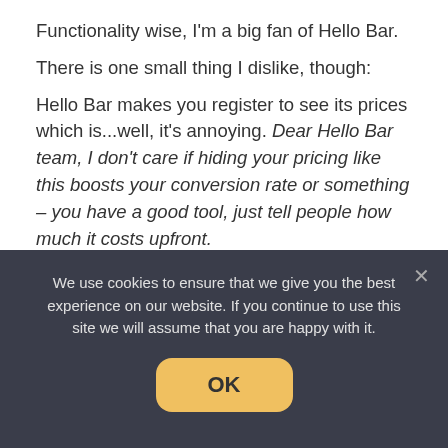Functionality wise, I'm a big fan of Hello Bar.
There is one small thing I dislike, though:
Hello Bar makes you register to see its prices which is...well, it's annoying. Dear Hello Bar team, I don't care if hiding your pricing like this boosts your conversion rate or something – you have a good tool, just tell people how much it costs upfront.
So here are the details on how much Hello Bar costs (if anything).
We use cookies to ensure that we give you the best experience on our website. If you continue to use this site we will assume that you are happy with it.